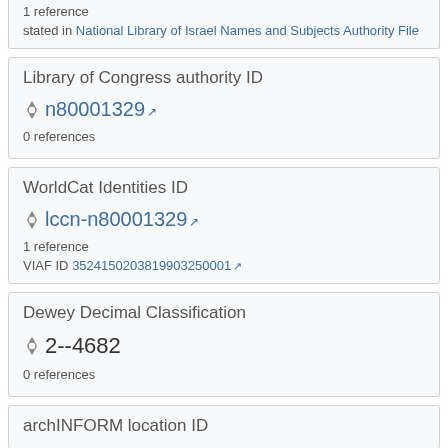1 reference
stated in National Library of Israel Names and Subjects Authority File
Library of Congress authority ID
n80001329
0 references
WorldCat Identities ID
lccn-n80001329
1 reference
VIAF ID 3524150203819903250001
Dewey Decimal Classification
2--4682
0 references
archINFORM location ID